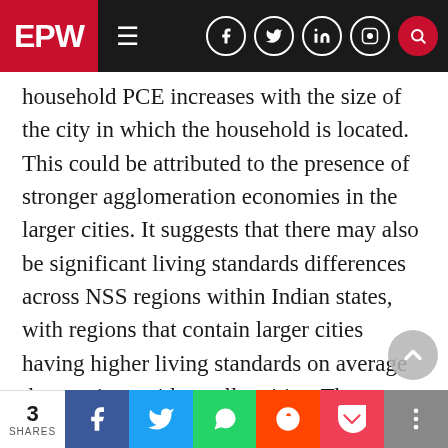EPW
household PCE increases with the size of the city in which the household is located. This could be attributed to the presence of stronger agglomeration economies in the larger cities. It suggests that there may also be significant living standards differences across NSS regions within Indian states, with regions that contain larger cities having higher living standards on average than regions with smaller cities. The omission of dummy variables to capture the location of the household may bias the results if the OBC households are mostly located in Indian states NSS regions where living standards are lower, and
3 SHARES | Facebook | Twitter | WhatsApp | Reddit | Pocket | More